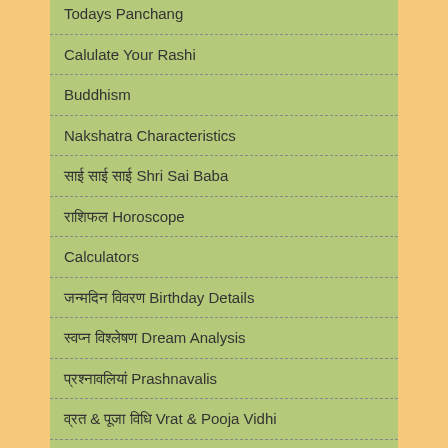Todays Panchang
Calulate Your Rashi
Buddhism
Nakshatra Characteristics
साई साई साई Shri Sai Baba
राशिफल Horoscope
Calculators
जन्मदिन विवरण Birthday Details
स्वप्न विश्लेषण Dream Analysis
प्रश्नावलियां Prashnavalis
व्रत & पूजा विधि Vrat & Pooja Vidhi